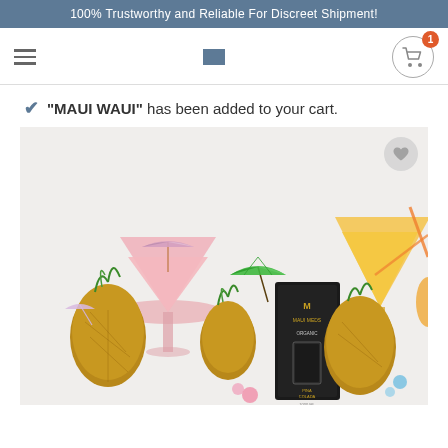100% Trustworthy and Reliable For Discreet Shipment!
[Figure (screenshot): Navigation bar with hamburger menu icon on left, small blue square logo in center, and shopping cart icon with badge showing 1 on the right]
"MAUI WAUI" has been added to your cart.
[Figure (photo): Product photo showing a black box labeled MAUI MEDS ORGANIC Pina Colada 1000ml vape cartridge surrounded by tropical drinks, pineapples, and cocktails with colorful mini umbrellas on a light background. A wishlist heart button appears in the upper right corner of the image.]